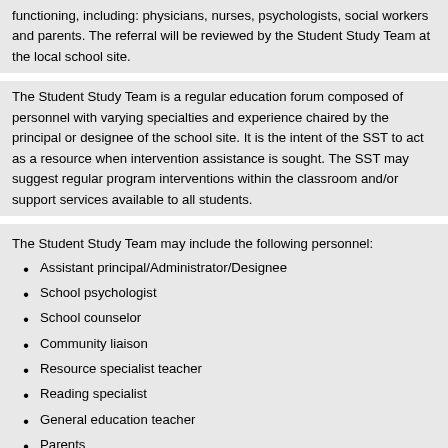functioning, including: physicians, nurses, psychologists, social workers and parents. The referral will be reviewed by the Student Study Team at the local school site.
The Student Study Team is a regular education forum composed of personnel with varying specialties and experience chaired by the principal or designee of the school site. It is the intent of the SST to act as a resource when intervention assistance is sought. The SST may suggest regular program interventions within the classroom and/or support services available to all students.
The Student Study Team may include the following personnel:
Assistant principal/Administrator/Designee
School psychologist
School counselor
Community liaison
Resource specialist teacher
Reading specialist
General education teacher
Parents